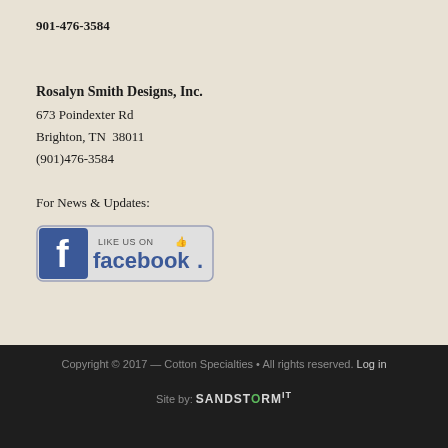901-476-3584
Rosalyn Smith Designs, Inc.
673 Poindexter Rd
Brighton, TN  38011
(901)476-3584
For News & Updates:
[Figure (logo): Facebook 'Like Us On Facebook' badge button with Facebook logo]
Copyright © 2017 — Cotton Specialties • All rights reserved. Log in
Site by: SandStorm IT